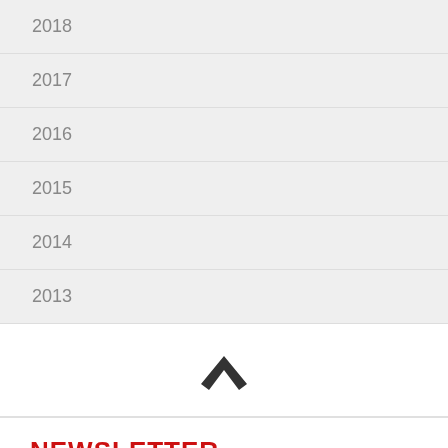2018
2017
2016
2015
2014
2013
[Figure (other): Upward chevron arrow icon in dark gray]
NEWSLETTER